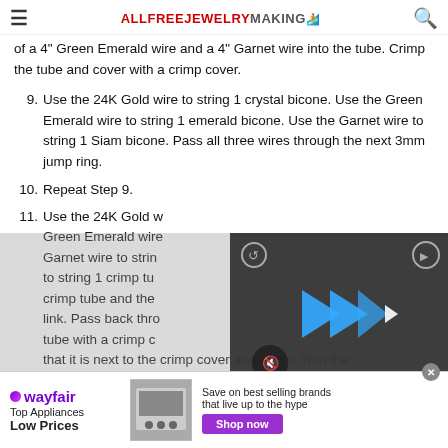ALLFREEJEWELRYMAKING [hamburger menu] [search icon]
of a 4" Green Emerald wire and a 4" Garnet wire into the tube. Crimp the tube and cover with a crimp cover.
9. Use the 24K Gold wire to string 1 crystal bicone. Use the Green Emerald wire to string 1 emerald bicone. Use the Garnet wire to string 1 Siam bicone. Pass all three wires through the next 3mm jump ring.
10. Repeat Step 9.
11. Use the 24K Gold wire to string 1 crystal bicone. Use the Green Emerald wire to string 1 emerald bicone. Use the Garnet wire to string 1 Siam bicone. Use all three wires to string 1 crimp tube and then a lobster claw link. Pass back through the crimp tube with a crimp cover next to it so that it is next to the crimp cover and crimp. Trim the wires and cover the tube with a crimp cover.
[Figure (screenshot): Video player overlay showing a person in front of bookshelves, with a play button icon and mute button]
[Figure (infographic): Wayfair advertisement banner: Top Appliances Low Prices, image of stove, Save on best selling brands that live up to the hype, Shop now button]